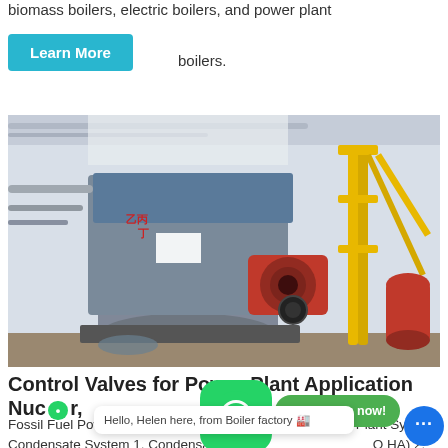biomass boilers, electric boilers, and power plant boilers.
[Figure (other): Industrial boiler equipment in a factory setting showing large cylindrical boilers with red burner assembly and yellow crane/lifting equipment]
Control Valves for Power Plant Application Nuclear, Fossil Boiler
Fossil Fuel Power Plant Typical Application Typical Power Plant System Condensate System 1. Condensate recirculation valve (CG or HA) 2. Deaerator level control valve. (CG or HG)